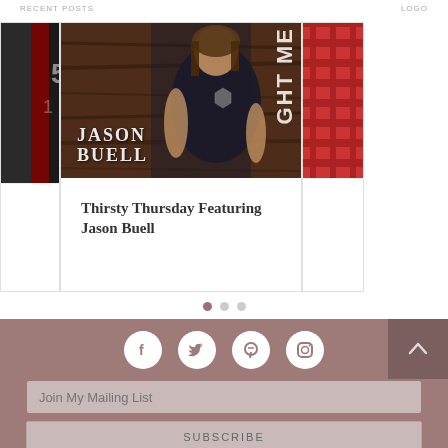RECENT POSTS ... LOGO ...
[Figure (photo): Carousel card showing Jason Buell, a man with long hair wearing a dark t-shirt, standing in front of a wooden wall background. Text overlay reads JASON BUELL. Partial cards visible on left and right edges.]
Thirsty Thursday Featuring Jason Buell
[Figure (infographic): Carousel pagination dots: three dots, first one filled/active in mauve, second and third grey.]
[Figure (infographic): Footer section with mauve/rose background containing social media icons (Facebook, Twitter, Pinterest, Instagram), a back-to-top button, a Join My Mailing List input field, and a SUBSCRIBE button.]